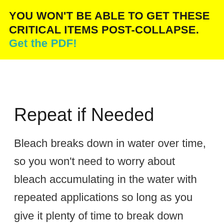YOU WON'T BE ABLE TO GET THESE CRITICAL ITEMS POST-COLLAPSE. Get the PDF!
Repeat if Needed
Bleach breaks down in water over time, so you won't need to worry about bleach accumulating in the water with repeated applications so long as you give it plenty of time to break down once